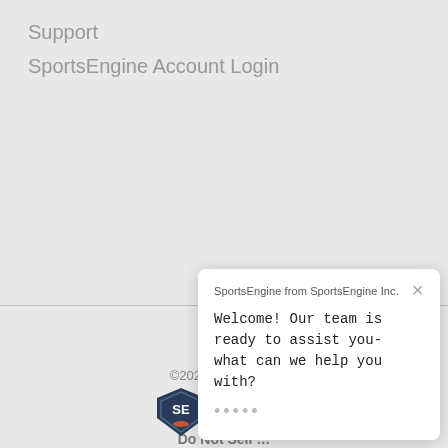Support
SportsEngine Account Login
©2021 SportsEn… Sports.
Terms of Use / …
Do Not Sell …
SportsEngine from SportsEngine Inc.
Welcome! Our team is ready to assist you- what can we help you with?